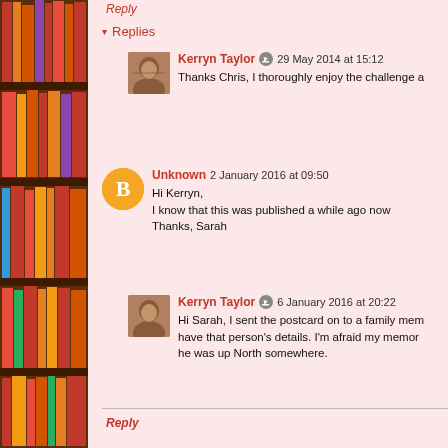Reply
Replies
Kerryn Taylor  29 May 2014 at 15:12
Thanks Chris, I thoroughly enjoy the challenge a
Unknown  2 January 2016 at 09:50
Hi Kerryn,
I know that this was published a while ago now
Thanks, Sarah
Kerryn Taylor  6 January 2016 at 20:22
Hi Sarah, I sent the postcard on to a family mem have that person's details. I'm afraid my memor he was up North somewhere.
Reply